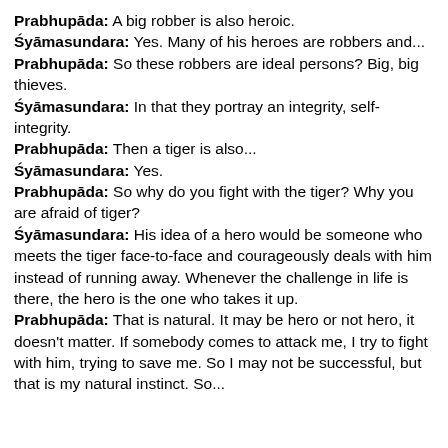Prabhupāda: A big robber is also heroic.
Śyāmasundara: Yes. Many of his heroes are robbers and...
Prabhupāda: So these robbers are ideal persons? Big, big thieves.
Śyāmasundara: In that they portray an integrity, self-integrity.
Prabhupāda: Then a tiger is also...
Śyāmasundara: Yes.
Prabhupāda: So why do you fight with the tiger? Why you are afraid of tiger?
Śyāmasundara: His idea of a hero would be someone who meets the tiger face-to-face and courageously deals with him instead of running away. Whenever the challenge in life is there, the hero is the one who takes it up.
Prabhupāda: That is natural. It may be hero or not hero, it doesn't matter. If somebody comes to attack me, I try to fight with him, trying to save me. So I may not be successful, but that is my natural instinct. So...